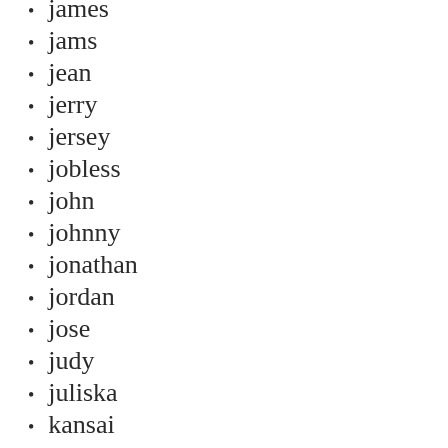james
jams
jean
jerry
jersey
jobless
john
johnny
jonathan
jordan
jose
judy
juliska
kansai
kate
kaws
kirkland
kiss